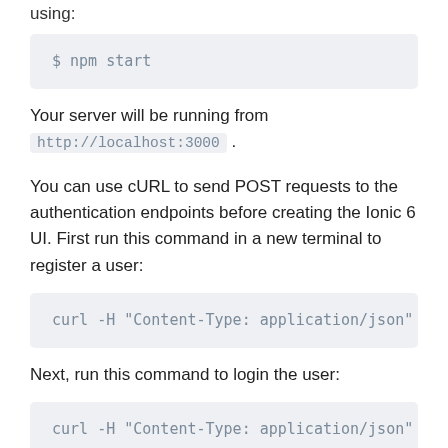using:
$ npm start
Your server will be running from http://localhost:3000 .
You can use cURL to send POST requests to the authentication endpoints before creating the Ionic 6 UI. First run this command in a new terminal to register a user:
curl -H "Content-Type: application/json" -d
Next, run this command to login the user:
curl -H "Content-Type: application/json" -d